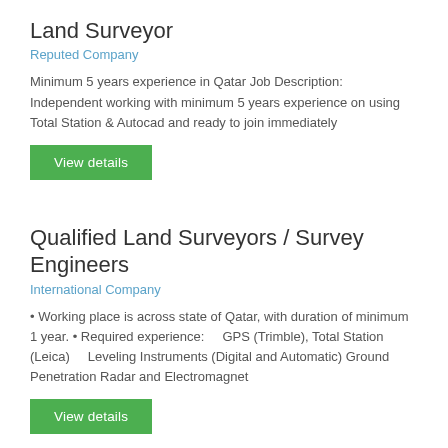Land Surveyor
Reputed Company
Minimum 5 years experience in Qatar Job Description: Independent working with minimum 5 years experience on using Total Station & Autocad and ready to join immediately
View details
Qualified Land Surveyors / Survey Engineers
International Company
• Working place is across state of Qatar, with duration of minimum 1 year. • Required experience:     GPS (Trimble), Total Station (Leica)     Leveling Instruments (Digital and Automatic) Ground Penetration Radar and Electromagnet
View details